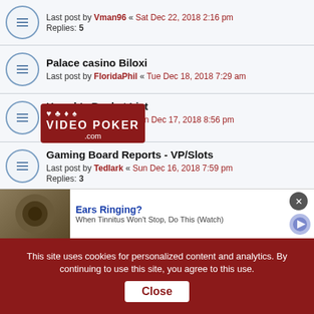Last post by Vman96 « Sat Dec 22, 2018 2:16 pm
Replies: 5
Palace casino Biloxi
Last post by FloridaPhil « Tue Dec 18, 2018 7:29 am
[Figure (logo): VideoPoker.com logo with card suits]
Harrah's Bucket List
Last post by Tedlark « Mon Dec 17, 2018 8:56 pm
Replies: 1
Gaming Board Reports - VP/Slots
Last post by Tedlark « Sun Dec 16, 2018 7:59 pm
Replies: 3
Fort McDowell AYCE Lobster Buffet
Last post by Tedlark « Mon Nov 19, 2018 8:01 am
Replies: 1
MGM Casino exploring Caesars merger
Last post by case « Mon Nov 05, 2018 7:49 pm
Replies: 2
[Figure (infographic): Ears Ringing? advertisement banner - When Tinnitus Won't Stop, Do This (Watch)]
This site uses cookies for personalized content and analytics. By continuing to use this site, you agree to this use. Close